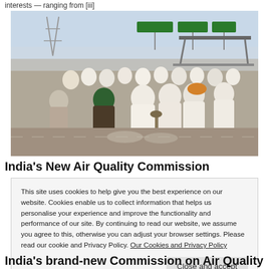interests — ranging from [iii]
[Figure (photo): Large group of men, mostly dressed in white traditional clothing, sitting on a road or highway in a protest. Green highway signs visible in background along with a canopy structure.]
India's New Air Quality Commission
This site uses cookies to help give you the best experience on our website. Cookies enable us to collect information that helps us personalise your experience and improve the functionality and performance of our site. By continuing to read our website, we assume you agree to this, otherwise you can adjust your browser settings. Please read our cookie and Privacy Policy. Our Cookies and Privacy Policy
Close and accept
India's brand-new Commission on Air Quality